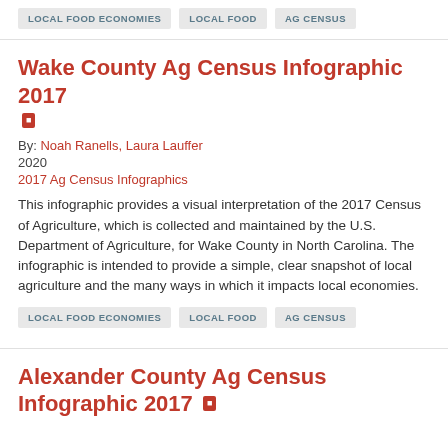LOCAL FOOD ECONOMIES
LOCAL FOOD
AG CENSUS
Wake County Ag Census Infographic 2017
By: Noah Ranells, Laura Lauffer
2020
2017 Ag Census Infographics
This infographic provides a visual interpretation of the 2017 Census of Agriculture, which is collected and maintained by the U.S. Department of Agriculture, for Wake County in North Carolina. The infographic is intended to provide a simple, clear snapshot of local agriculture and the many ways in which it impacts local economies.
LOCAL FOOD ECONOMIES
LOCAL FOOD
AG CENSUS
Alexander County Ag Census Infographic 2017